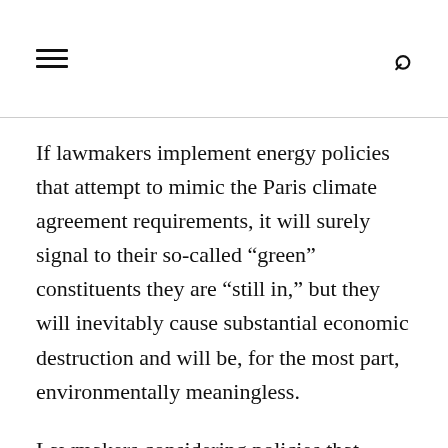≡  🔍
If lawmakers implement energy policies that attempt to mimic the Paris climate agreement requirements, it will surely signal to their so-called “green” constituents they are “still in,” but they will inevitably cause substantial economic destruction and will be, for the most part, environmentally meaningless.
Lawmakers considering policies that would hold their communities to the Paris climate agreement’s standards should recognize the flaws in the SCC and reverse course. If they don’t, voters should keep their higher electricity bills in mind when